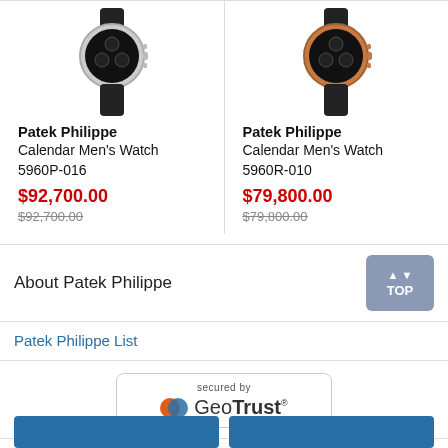[Figure (photo): Silver Patek Philippe chronograph watch with black dial and black leather strap]
[Figure (photo): Rose gold Patek Philippe chronograph watch with black dial and black leather strap]
Patek Philippe Calendar Men's Watch 5960P-016 $92,700.00 $92,700.00
Patek Philippe Calendar Men's Watch 5960R-010 $79,800.00 $79,800.00
About Patek Philippe
Patek Philippe List
[Figure (logo): Secured by GeoTrust badge with GeoTrust logo]
[Figure (other): Two blue buttons at the bottom of the page]